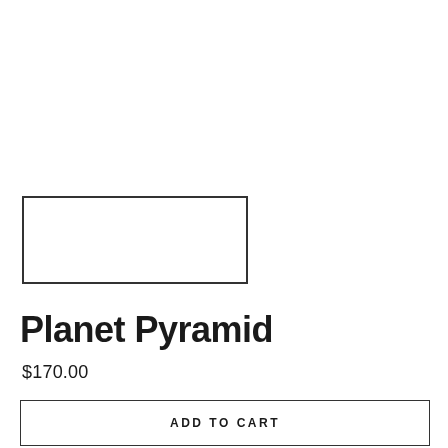[Figure (other): Empty placeholder rectangle outline, representing a product image slot]
Planet Pyramid
$170.00
ADD TO CART